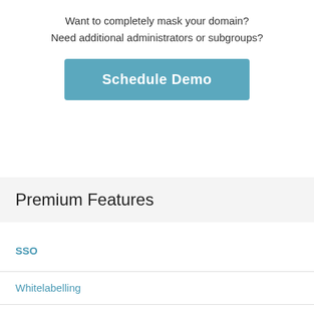Want to completely mask your domain?
Need additional administrators or subgroups?
[Figure (other): Schedule Demo button — teal/blue rounded rectangle with white bold text]
Premium Features
SSO
Whitelabelling
Learning Management System LTI